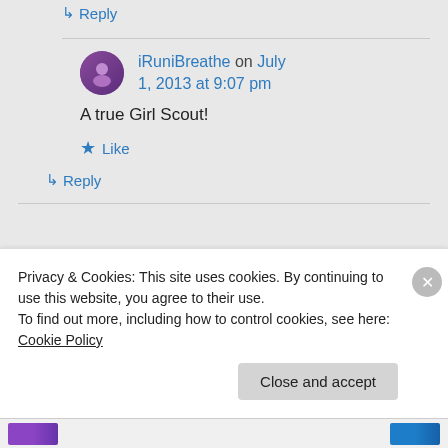↳ Reply
iRuniBreathe on July 1, 2013 at 9:07 pm
A true Girl Scout!
★ Like
↳ Reply
Privacy & Cookies: This site uses cookies. By continuing to use this website, you agree to their use.
To find out more, including how to control cookies, see here: Cookie Policy
Close and accept